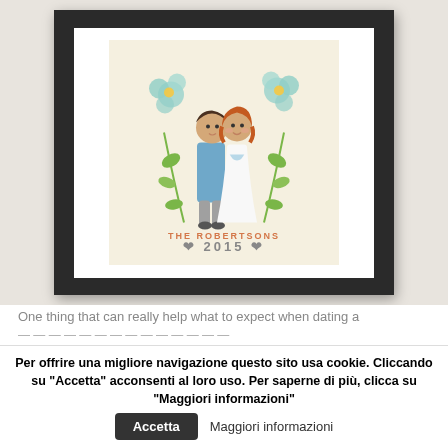[Figure (illustration): A framed illustration showing a cartoon couple (groom in blue shirt with dark hair, bride in white dress with red/orange hair) surrounded by teal flowers and green leaves. Text at bottom reads 'THE ROBERTSONS' and '2015' with small heart/arrow decorations. The illustration is inside a black picture frame with white mat, set against a beige/tan background.]
One thing that can really help what to expect when dating a ...
Per offrire una migliore navigazione questo sito usa cookie. Cliccando su "Accetta" acconsenti al loro uso. Per saperne di più, clicca su "Maggiori informazioni"   Accetta   Maggiori informazioni